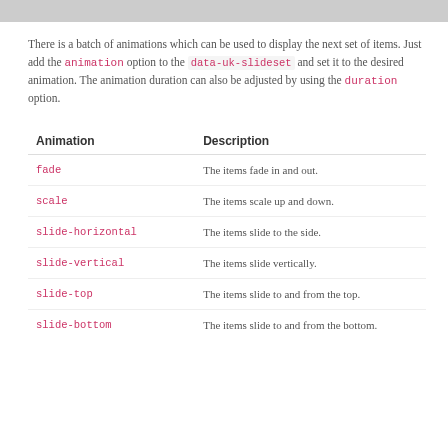There is a batch of animations which can be used to display the next set of items. Just add the animation option to the data-uk-slideset and set it to the desired animation. The animation duration can also be adjusted by using the duration option.
| Animation | Description |
| --- | --- |
| fade | The items fade in and out. |
| scale | The items scale up and down. |
| slide-horizontal | The items slide to the side. |
| slide-vertical | The items slide vertically. |
| slide-top | The items slide to and from the top. |
| slide-bottom | The items slide to and from the bottom. |